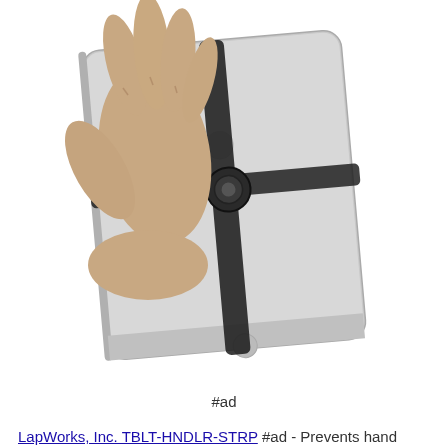[Figure (photo): A hand holding an iPad from the back using a black hand strap with a swivel mechanism. The back of the iPad is visible showing the Apple logo area and 'iPad' text. The strap wraps around the hand for grip support.]
#ad
LapWorks, Inc. TBLT-HNDLR-STRP #ad - Prevents hand fatigue. 360 degrees Swiveling mechanism for maximum convenience and flexibility. Neoprene loop at bottom can hold the Apple Pencil and the handle pocket holds the Pencil cap and lightning adapter. Adjustable velcro strap accommodates any hand size, left or right handed. Unique design supports the